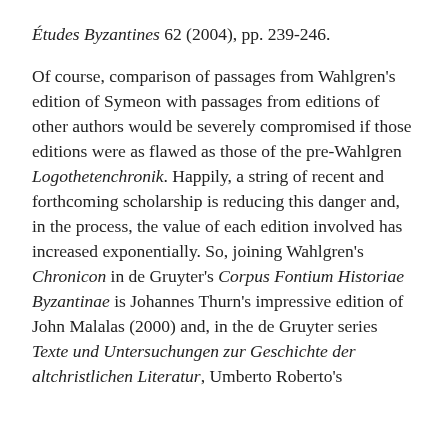Études Byzantines 62 (2004), pp. 239-246.
Of course, comparison of passages from Wahlgren's edition of Symeon with passages from editions of other authors would be severely compromised if those editions were as flawed as those of the pre-Wahlgren Logothetenchronik. Happily, a string of recent and forthcoming scholarship is reducing this danger and, in the process, the value of each edition involved has increased exponentially. So, joining Wahlgren's Chronicon in de Gruyter's Corpus Fontium Historiae Byzantinae is Johannes Thurn's impressive edition of John Malalas (2000) and, in the de Gruyter series Texte und Untersuchungen zur Geschichte der altchristlichen Literatur, Umberto Roberto's